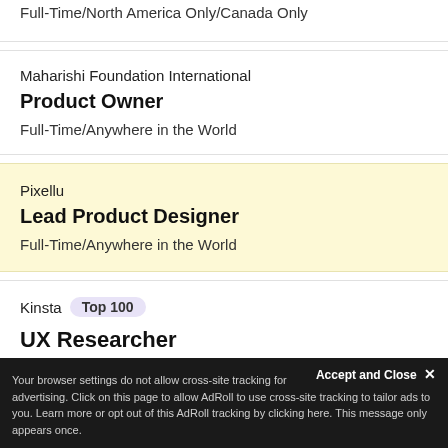Full-Time/North America Only/Canada Only
Maharishi Foundation International
Product Owner
Full-Time/Anywhere in the World
Pixellu
Lead Product Designer
Full-Time/Anywhere in the World
Kinsta  Top 100
UX Researcher
North America Only/Europe O...
Accept and Close ×
Your browser settings do not allow cross-site tracking for advertising. Click on this page to allow AdRoll to use cross-site tracking to tailor ads to you. Learn more or opt out of this AdRoll tracking by clicking here. This message only appears once.